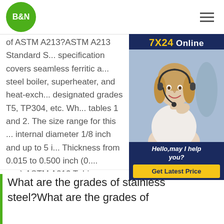B&N logo and navigation
of ASTM A213?ASTM A213 Standard Specification covers seamless ferritic and austenitic steel boiler, superheater, and heat-exchanger tubes, designated grades T5, TP304, etc. Wh... tables 1 and 2. The size range for this ... internal diameter 1/8 inch and up to 5 i... Thickness from 0.015 to 0.500 inch (0.... mm).ASTM A213 Tubing Specifications (Alloy and Stainless Steel ASTM A213 alloy steel seamless boiler tube
[Figure (photo): 7X24 Online customer service widget showing a woman with a headset, with 'Hello, may I help you?' text and 'Get Latest Price' button]
What are the grades of stainless steel?What are the grades of